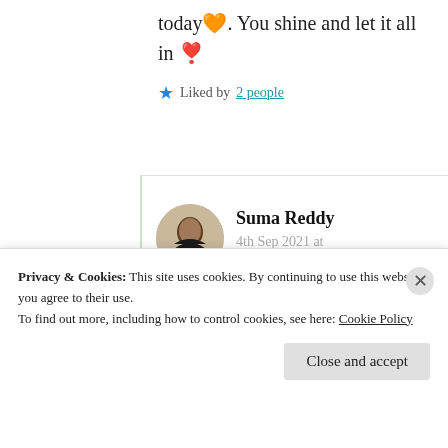today🧡. You shine and let it all in ❣️
★ Liked by 2 people
Suma Reddy
4th Sep 2021 at 8:46 am
Thank you much 🤗❤️
Privacy & Cookies: This site uses cookies. By continuing to use this website, you agree to their use.
To find out more, including how to control cookies, see here: Cookie Policy
Close and accept